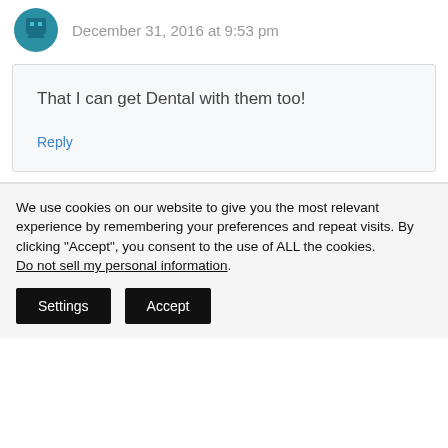December 31, 2016 at 9:53 pm
That I can get Dental with them too!
Reply
We use cookies on our website to give you the most relevant experience by remembering your preferences and repeat visits. By clicking “Accept”, you consent to the use of ALL the cookies. Do not sell my personal information.
Settings
Accept